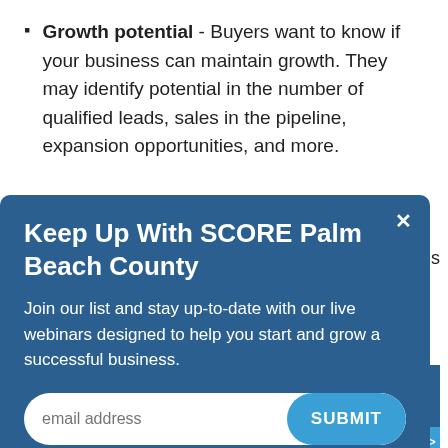Growth potential - Buyers want to know if your business can maintain growth. They may identify potential in the number of qualified leads, sales in the pipeline, expansion opportunities, and more.
[Figure (screenshot): Modal popup for 'Keep Up With SCORE Palm Beach County' email sign-up with title, description text about webinars, email address input field, and SUBMIT button on blue background.]
owner start on a high note.
Solid vendor and supplier relationships - If you have good relationships with your vendors and